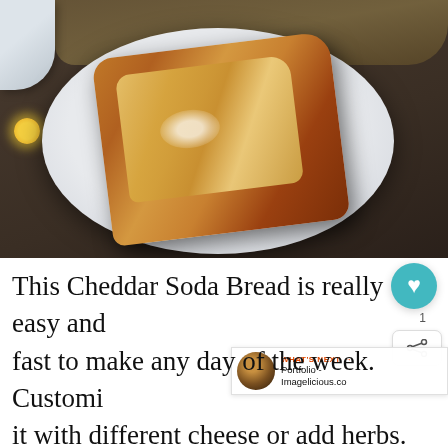[Figure (photo): A slice of golden-brown Cheddar Soda Bread served on a light blue-grey plate on a dark surface, with a wooden board and white bowl corner visible in the background, and a yellow flower to the left.]
This Cheddar Soda Bread is really easy and fast to make any day of the week. Customize it with different cheese or add herbs. One-bowl recipe without any fuss. Perfect for dinner or snack. Great way to celebrate St.